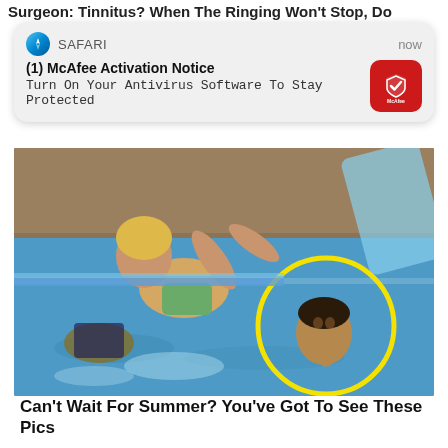Surgeon: Tinnitus? When The Ringing Won't Stop, Do
[Figure (screenshot): iOS Safari push notification: '(1) McAfee Activation Notice - Turn On Your Antivirus Software To Stay Protected' with McAfee red icon logo, shown as a notification card overlay]
[Figure (photo): Outdoor pool scene with people playing in water; a yellow circle highlights a person in the background]
Can't Wait For Summer? You've Got To See These Pics
Ah summertime, the possibilities for fun and adventure seem infinite.
Find Out More
127,652